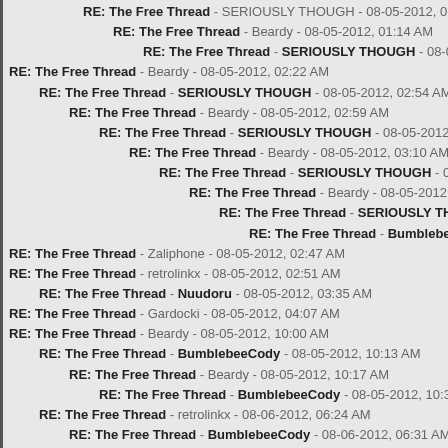RE: The Free Thread - SERIOUSLY THOUGH - 08-05-2012, 01:08 AM
RE: The Free Thread - Beardy - 08-05-2012, 01:14 AM
RE: The Free Thread - SERIOUSLY THOUGH - 08-05-2012, 01:50 AM
RE: The Free Thread - Beardy - 08-05-2012, 02:22 AM
RE: The Free Thread - SERIOUSLY THOUGH - 08-05-2012, 02:54 AM
RE: The Free Thread - Beardy - 08-05-2012, 02:59 AM
RE: The Free Thread - SERIOUSLY THOUGH - 08-05-2012, 03:03 AM
RE: The Free Thread - Beardy - 08-05-2012, 03:10 AM
RE: The Free Thread - SERIOUSLY THOUGH - 08-05-2012, 06:31 A
RE: The Free Thread - Beardy - 08-05-2012, 09:13 AM
RE: The Free Thread - SERIOUSLY THOUGH - 08-05-2012, 0
RE: The Free Thread - BumblebeeCody - 08-05-2012, 10:3
RE: The Free Thread - Zaliphone - 08-05-2012, 02:47 AM
RE: The Free Thread - retrolinkx - 08-05-2012, 02:51 AM
RE: The Free Thread - Nuudoru - 08-05-2012, 03:35 AM
RE: The Free Thread - Gardocki - 08-05-2012, 04:07 AM
RE: The Free Thread - Beardy - 08-05-2012, 10:00 AM
RE: The Free Thread - BumblebeeCody - 08-05-2012, 10:13 AM
RE: The Free Thread - Beardy - 08-05-2012, 10:17 AM
RE: The Free Thread - BumblebeeCody - 08-05-2012, 10:32 AM
RE: The Free Thread - retrolinkx - 08-06-2012, 06:24 AM
RE: The Free Thread - BumblebeeCody - 08-06-2012, 06:31 AM
RE: The Free Thread - Nuudoru - 08-05-2012, 10:29 AM
RE: The Free Thread - retrolinkx - 08-05-2012, 10:46 PM
RE: The Free Thread - Beardy - 08-06-2012, 01:34 AM